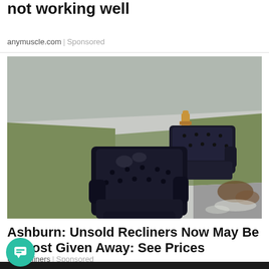not working well
anymuscle.com | Sponsored
[Figure (photo): Two worn black leather recliners left on a residential sidewalk/curb on a cloudy day. A fire hydrant is visible in the background. Fallen leaves on the grass nearby.]
Ashburn: Unsold Recliners Now May Be Almost Given Away: See Prices
Us Recliners | Sponsored